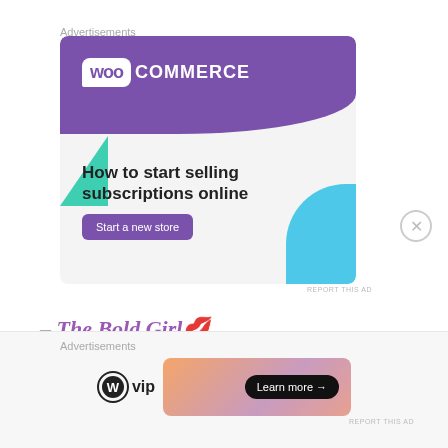Advertisements
[Figure (illustration): WooCommerce advertisement banner with purple header showing WooCommerce logo, teal green triangle shape on left, blue curved shape on right, headline 'How to start selling subscriptions online', and purple 'Start a new store' button]
REPORT THIS AD
– The Bold Girl 💋
Advertisements
[Figure (illustration): WordPress VIP advertisement with WP logo and 'vip' text on left, gradient banner with 'Learn more →' button on right]